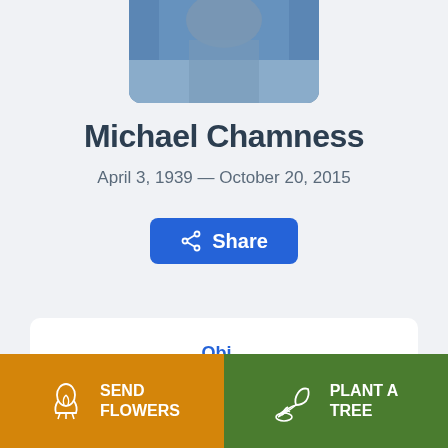[Figure (photo): Partial photo of Michael Chamness, showing upper body in blue clothing, cropped at top of page]
Michael Chamness
April 3, 1939 — October 20, 2015
[Figure (other): Blue Share button with share icon]
[Figure (other): White card with partial blue text visible at bottom]
[Figure (other): Orange SEND FLOWERS button with flower bouquet icon]
[Figure (other): Green PLANT A TREE button with plant/hand icon]